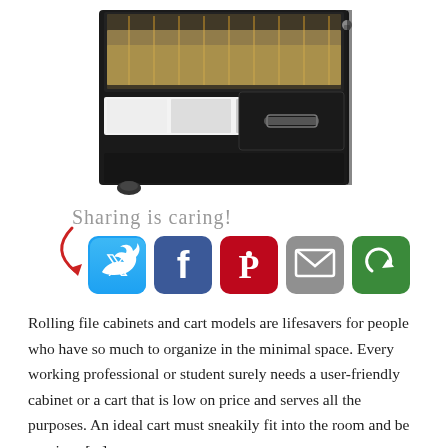[Figure (photo): A black rolling file cabinet with two drawers open, showing hanging file folders (manila/tan colored) in the top drawer and a lower smaller drawer open, with a chrome handle visible. The cabinet has a small wheel visible at the bottom left.]
[Figure (infographic): Social sharing widget with 'Sharing is caring!' text in cursive red/gray font with a red curved arrow pointing down to five social media icon buttons: Twitter (blue bird), Facebook (blue f), Pinterest (red P), Email (gray envelope), and a green share/cycle icon.]
Rolling file cabinets and cart models are lifesavers for people who have so much to organize in the minimal space. Every working professional or student surely needs a user-friendly cabinet or a cart that is low on price and serves all the purposes. An ideal cart must sneakily fit into the room and be spacious [...]